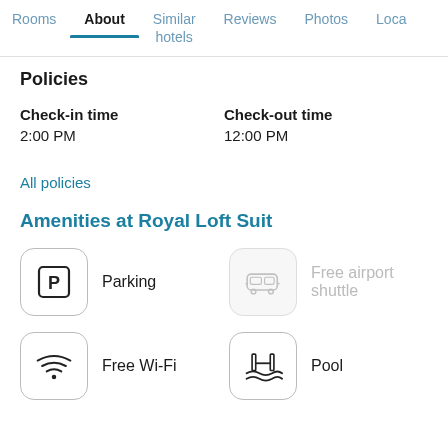Rooms   About   Similar hotels   Reviews   Photos   Loca...
Policies
Check-in time
2:00 PM
Check-out time
12:00 PM
All policies
Amenities at Royal Loft Suit
Parking
Free airport shuttle
Free Wi-Fi
Pool